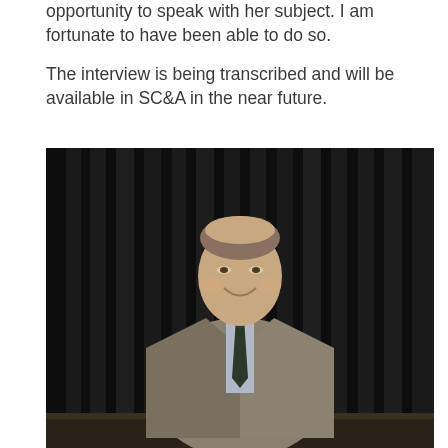opportunity to speak with her subject. I am fortunate to have been able to do so.
The interview is being transcribed and will be available in SC&A in the near future.
[Figure (photo): A man in a grey blazer and dark tie standing in front of dark curtains, smiling.]